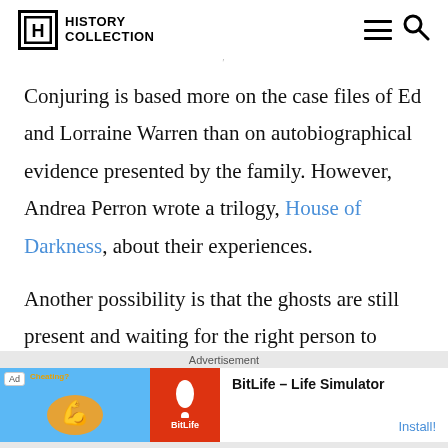History Collection
Conjuring is based more on the case files of Ed and Lorraine Warren than on autobiographical evidence presented by the family. However, Andrea Perron wrote a trilogy, House of Darkness, about their experiences.
Another possibility is that the ghosts are still present and waiting for the right person to begin
Advertisement
[Figure (screenshot): Ad banner for BitLife - Life Simulator app with blue background on left, red BitLife logo, and Install button on right]